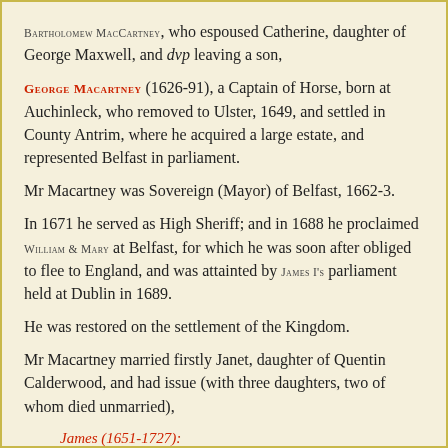BARTHOLOMEW MacCARTNEY, who espoused Catherine, daughter of George Maxwell, and dvp leaving a son,
GEORGE MACARTNEY (1626-91), a Captain of Horse, born at Auchinleck, who removed to Ulster, 1649, and settled in County Antrim, where he acquired a large estate, and represented Belfast in parliament.
Mr Macartney was Sovereign (Mayor) of Belfast, 1662-3.
In 1671 he served as High Sheriff; and in 1688 he proclaimed WILLIAM & MARY at Belfast, for which he was soon after obliged to flee to England, and was attainted by JAMES I's parliament held at Dublin in 1689.
He was restored on the settlement of the Kingdom.
Mr Macartney married firstly Janet, daughter of Quentin Calderwood, and had issue (with three daughters, two of whom died unmarried),
James (1651-1727):